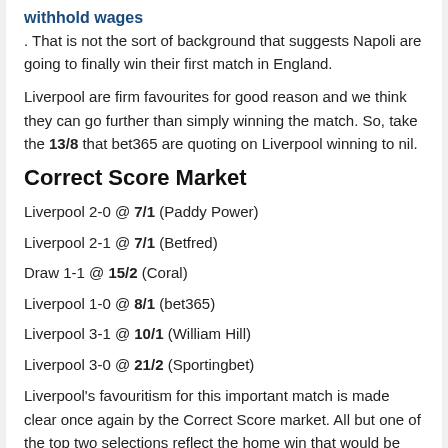withhold wages
. That is not the sort of background that suggests Napoli are going to finally win their first match in England.
Liverpool are firm favourites for good reason and we think they can go further than simply winning the match. So, take the 13/8 that bet365 are quoting on Liverpool winning to nil.
Correct Score Market
Liverpool 2-0 @ 7/1 (Paddy Power)
Liverpool 2-1 @ 7/1 (Betfred)
Draw 1-1 @ 15/2 (Coral)
Liverpool 1-0 @ 8/1 (bet365)
Liverpool 3-1 @ 10/1 (William Hill)
Liverpool 3-0 @ 21/2 (Sportingbet)
Liverpool's favouritism for this important match is made clear once again by the Correct Score market. All but one of the top two selections reflect the home win that would be enough for the